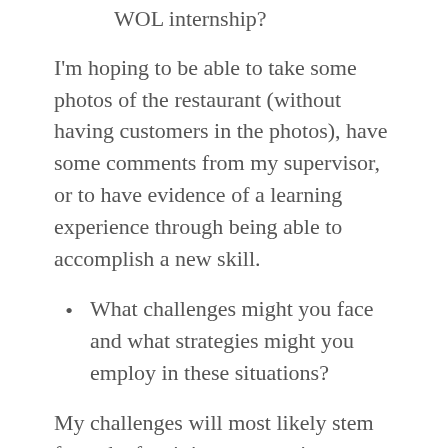WOL internship?
I'm hoping to be able to take some photos of the restaurant (without having customers in the photos), have some comments from my supervisor, or to have evidence of a learning experience through being able to accomplish a new skill.
What challenges might you face and what strategies might you employ in these situations?
My challenges will most likely stem from the fact it is a new environment with new people and new requirements. I think there will be difficulties that just come with being new to something and having to learn many different skills, but I also think there might be challenges with the people itself, as in,